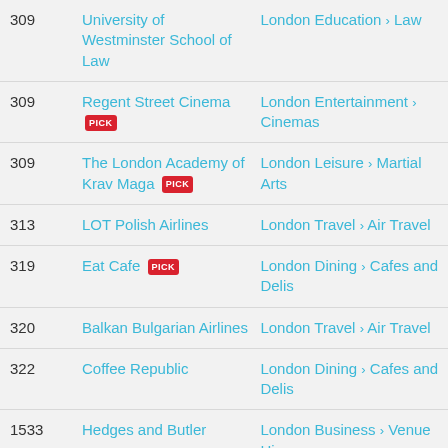| # | Name | Category |
| --- | --- | --- |
| 309 | University of Westminster School of Law | London Education > Law |
| 309 | Regent Street Cinema [PICK] | London Entertainment > Cinemas |
| 309 | The London Academy of Krav Maga [PICK] | London Leisure > Martial Arts |
| 313 | LOT Polish Airlines | London Travel > Air Travel |
| 319 | Eat Cafe [PICK] | London Dining > Cafes and Delis |
| 320 | Balkan Bulgarian Airlines | London Travel > Air Travel |
| 322 | Coffee Republic | London Dining > Cafes and Delis |
| 1533 | Hedges and Butler | London Business > Venue Hire |
| 615162-168 | British Tours | London Sights and Attractions |